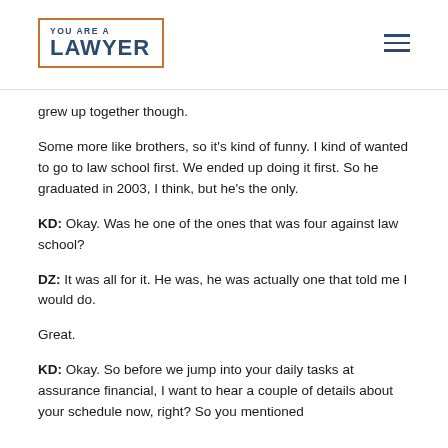YOU ARE A LAWYER
grew up together though.
Some more like brothers, so it's kind of funny. I kind of wanted to go to law school first. We ended up doing it first. So he graduated in 2003, I think, but he's the only.
KD: Okay. Was he one of the ones that was four against law school?
DZ: It was all for it. He was, he was actually one that told me I would do.
Great.
KD: Okay. So before we jump into your daily tasks at assurance financial, I want to hear a couple of details about your schedule now, right? So you mentioned